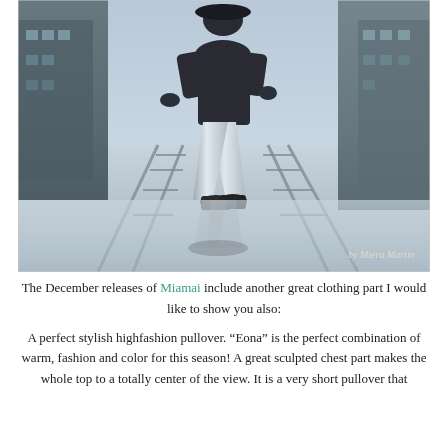[Figure (photo): Fashion photo of a woman wearing silver metallic leggings and a dark top, walking on tram tracks in an urban street setting. The image has a mirrored reflection effect at the bottom. A watermark in cursive reads 'by Miera Martin' in the lower right corner.]
The December releases of Miamai include another great clothing part I would like to show you also:
A perfect stylish highfashion pullover. "Eona" is the perfect combination of warm, fashion and color for this season! A great sculpted chest part makes the whole top to a totally center of the view. It is a very short pullover that